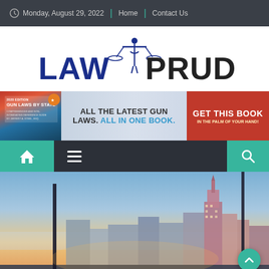Monday, August 29, 2022 | Home | Contact Us
[Figure (logo): Law Prudentia logo with scales of justice icon between LAW and PRUDENTIA text]
[Figure (infographic): Banner advertisement: Gun Laws By State book - 'ALL THE LATEST GUN LAWS. ALL IN ONE BOOK. GET THIS BOOK IN THE PALM OF YOUR HAND!']
[Figure (screenshot): Navigation bar with home icon (teal), hamburger menu (dark), and search icon (teal)]
[Figure (photo): City skyline photo showing skyscrapers at dusk/sunset with warm orange and blue sky tones, vertical dark poles in foreground]